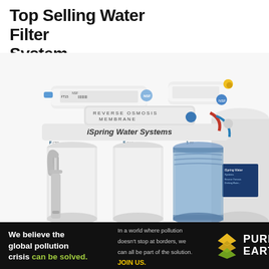Top Selling Water Filter System
[Figure (photo): iSpring Water Systems reverse osmosis water filter system with multiple filter stages including a blue transparent housing, white filter canisters, reverse osmosis membrane, and a chrome faucet. Labels visible: REVERSE OSMOSIS MEMBRANE, iSpring Water Systems, F CTO, F GAC, 1 PP.]
We believe the global pollution crisis can be solved.
In a world where pollution doesn't stop at borders, we can all be part of the solution. JOIN US.
[Figure (logo): Pure Earth logo with diamond/chevron shape in yellow/gold and green, with text PURE EARTH in white bold uppercase letters.]